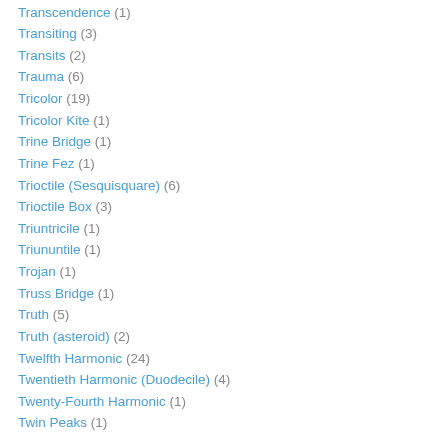Transcendence (1)
Transiting (3)
Transits (2)
Trauma (6)
Tricolor (19)
Tricolor Kite (1)
Trine Bridge (1)
Trine Fez (1)
Trioctile (Sesquisquare) (6)
Trioctile Box (3)
Triuntricile (1)
Triununtile (1)
Trojan (1)
Truss Bridge (1)
Truth (5)
Truth (asteroid) (2)
Twelfth Harmonic (24)
Twentieth Harmonic (Duodecile) (4)
Twenty-Fourth Harmonic (1)
Twin Peaks (1)